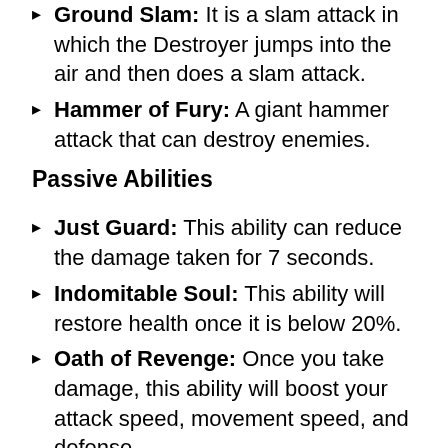Ground Slam: It is a slam attack in which the Destroyer jumps into the air and then does a slam attack.
Hammer of Fury: A giant hammer attack that can destroy enemies.
Passive Abilities
Just Guard: This ability can reduce the damage taken for 7 seconds.
Indomitable Soul: This ability will restore health once it is below 20%.
Oath of Revenge: Once you take damage, this ability will boost your attack speed, movement speed, and defense.
Counter Slow: This can lower the enemy's movement and attack speed.